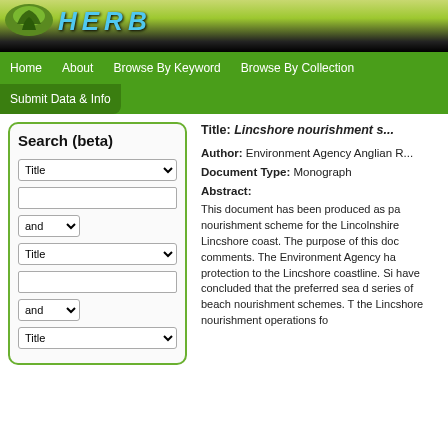[Figure (screenshot): Website header banner with green/black gradient background and blue text logo letters]
Home | About | Browse By Keyword | Browse By Collection | Submit Data & Info
Search (beta)
Title: Lincshore nourishment ...
Author: Environment Agency Anglian R...
Document Type: Monograph
Abstract:
This document has been produced as pa... nourishment scheme for the Lincolnshire... Lincshore coast. The purpose of this doc... comments. The Environment Agency ha... protection to the Lincshore coastline. Si... have concluded that the preferred sea d... series of beach nourishment schemes. T... the Lincshore nourishment operations fo...